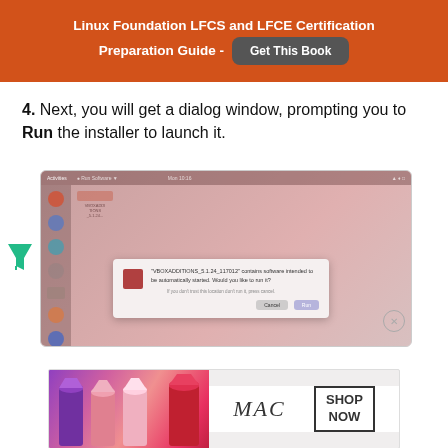Linux Foundation LFCS and LFCE Certification Preparation Guide - Get This Book
4. Next, you will get a dialog window, prompting you to Run the installer to launch it.
[Figure (screenshot): Screenshot of a Linux desktop environment showing a dialog box that says 'VBOXADDITIONS_5.1.24_117012 contains software intended to be automatically started. Would you like to run it?' with Cancel and Run buttons.]
[Figure (photo): MAC cosmetics advertisement banner showing lipsticks with 'MAC' brand name and 'SHOP NOW' call to action.]